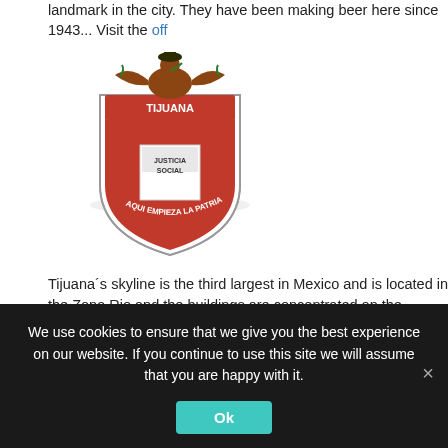landmark in the city. They have been making beer here since 1943... Visit the off
[Figure (illustration): Tijuana city coat of arms featuring an eagle with a snake, red shield with text TIJUANA AQUI EMPIEZA LA PATRIA and JUSTICIA SOCIAL]
Tijuana´s skyline is the third largest in Mexico and is located in the Zona Rio and the buildings are concentrated on the Tijuana River parallel to the river and on the... In Playas the high-rises are currently focused on the coast… Visit the official Tijua
[Figure (illustration): Tlaxcala coat of arms: white shield with red background, golden castle/tower, crowned letters I K F at top, skulls at bottom with plants]
Tlaxcala is Mexico's smallest state, was once home to the ancient Olmeca and X... home to three famous bullrings. The most famous being the Jorge "El Ranchero"... century in the heart of Tlaxcala City. Today it's known for its farms and textile indu
We use cookies to ensure that we give you the best experience on our website. If you continue to use this site we will assume that you are happy with it.